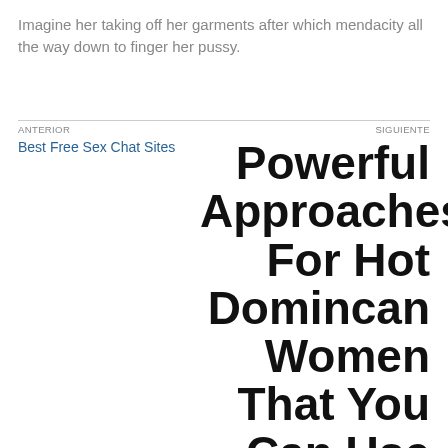Imagine her taking off her garments after which mendacity all the way down to finger her pussy.
ANTERIOR
Best Free Sex Chat Sites
SIGUIENTE
Powerful Approaches For Hot Domincan Women That You Can Use Beginning Today